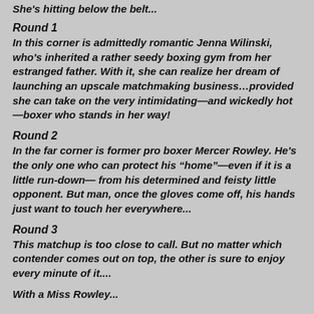She's hitting below the belt...
Round 1
In this corner is admittedly romantic Jenna Wilinski, who's inherited a rather seedy boxing gym from her estranged father. With it, she can realize her dream of launching an upscale matchmaking business…provided she can take on the very intimidating—and wickedly hot—boxer who stands in her way!
Round 2
In the far corner is former pro boxer Mercer Rowley. He's the only one who can protect his “home”—even if it is a little run-down— from his determined and feisty little opponent. But man, once the gloves come off, his hands just want to touch her everywhere...
Round 3
This matchup is too close to call. But no matter which contender comes out on top, the other is sure to enjoy every minute of it....
With a Miss Rowley...